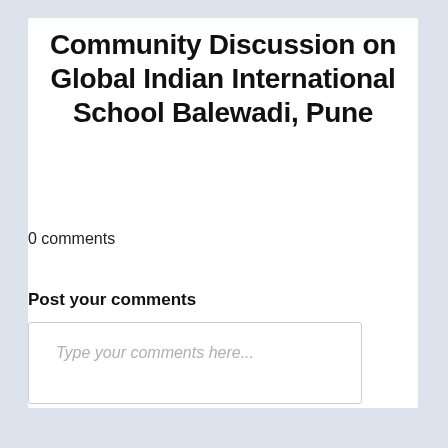Community Discussion on Global Indian International School Balewadi, Pune
0 comments
Post your comments
Type your comments here...